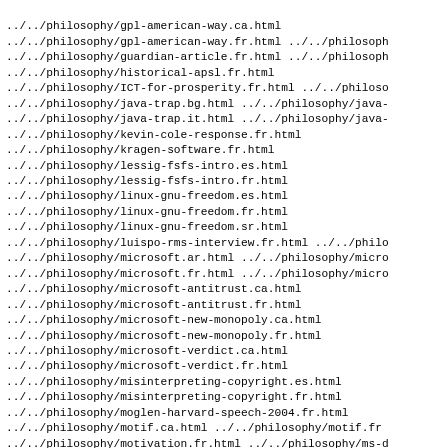../../philosophy/gpl-american-way.ca.html
../../philosophy/gpl-american-way.fr.html ../../philosoph
../../philosophy/guardian-article.fr.html ../../philosoph
../../philosophy/historical-apsl.fr.html
../../philosophy/ICT-for-prosperity.fr.html ../../philoso
../../philosophy/java-trap.bg.html ../../philosophy/java-
../../philosophy/java-trap.it.html ../../philosophy/java-
../../philosophy/kevin-cole-response.fr.html
../../philosophy/kragen-software.fr.html
../../philosophy/lessig-fsfs-intro.es.html
../../philosophy/lessig-fsfs-intro.fr.html
../../philosophy/linux-gnu-freedom.es.html
../../philosophy/linux-gnu-freedom.fr.html
../../philosophy/linux-gnu-freedom.sr.html
../../philosophy/luispo-rms-interview.fr.html ../../philo
../../philosophy/microsoft.ar.html ../../philosophy/micro
../../philosophy/microsoft.fr.html ../../philosophy/micro
../../philosophy/microsoft-antitrust.ca.html
../../philosophy/microsoft-antitrust.fr.html
../../philosophy/microsoft-new-monopoly.ca.html
../../philosophy/microsoft-new-monopoly.fr.html
../../philosophy/microsoft-verdict.ca.html
../../philosophy/microsoft-verdict.fr.html
../../philosophy/misinterpreting-copyright.es.html
../../philosophy/misinterpreting-copyright.fr.html
../../philosophy/moglen-harvard-speech-2004.fr.html
../../philosophy/motif.ca.html ../../philosophy/motif.fr
../../philosophy/motivation.fr.html ../../philosophy/ms-d
../../philosophy/my_doom.ca.html ../../philosophy/my_doo
../../philosophy/my_doom.fr.html ../../philosophy/netsca